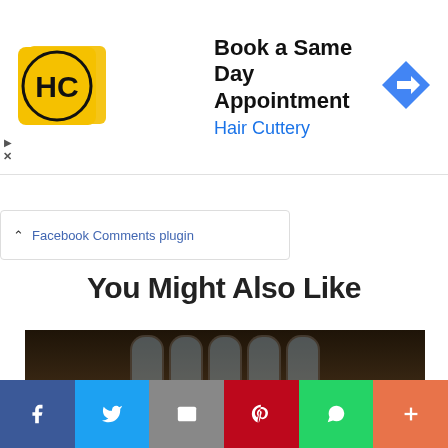[Figure (screenshot): Hair Cuttery advertisement banner with HC logo, text 'Book a Same Day Appointment / Hair Cuttery', and a blue navigation arrow icon. Small play and close icons on the left edge.]
Facebook Comments plugin
You Might Also Like
[Figure (photo): Blurred thumbnail image of a dark interior room with arched windows, text overlay reading 'Russia In Your High Life Guide Like arts, stage & comedy']
[Figure (infographic): Social share bar with buttons: Facebook (blue), Twitter (light blue), Email (gray), Pinterest (red), WhatsApp (green), More (orange)]